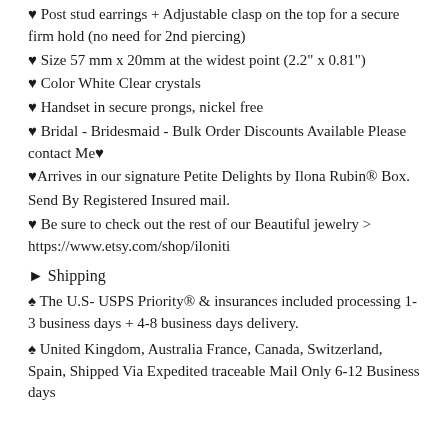♥ Post stud earrings + Adjustable clasp on the top for a secure firm hold (no need for 2nd piercing)
♥ Size 57 mm x 20mm at the widest point (2.2" x 0.81")
♥ Color White Clear crystals
♥ Handset in secure prongs, nickel free
♥ Bridal - Bridesmaid - Bulk Order Discounts Available Please contact Me♥
♥Arrives in our signature Petite Delights by Ilona Rubin® Box.
Send By Registered Insured mail.
♥ Be sure to check out the rest of our Beautiful jewelry > https://www.etsy.com/shop/iloniti
► Shipping
♠ The U.S- USPS Priority® & insurances included processing 1-3 business days + 4-8 business days delivery.
♠ United Kingdom, Australia France, Canada, Switzerland, Spain, Shipped Via Expedited traceable Mail Only 6-12 Business days